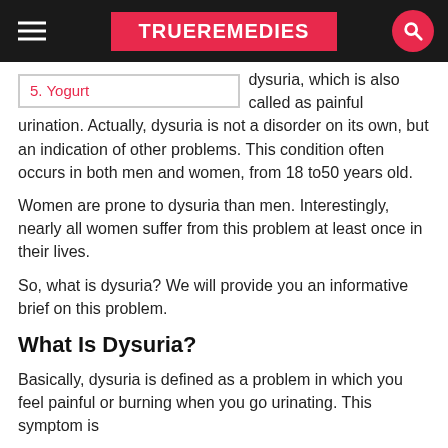TRUEREMEDIES
5. Yogurt
dysuria, which is also called as painful urination. Actually, dysuria is not a disorder on its own, but an indication of other problems. This condition often occurs in both men and women, from 18 to50 years old.
Women are prone to dysuria than men. Interestingly, nearly all women suffer from this problem at least once in their lives.
So, what is dysuria? We will provide you an informative brief on this problem.
What Is Dysuria?
Basically, dysuria is defined as a problem in which you feel painful or burning when you go urinating. This symptom is